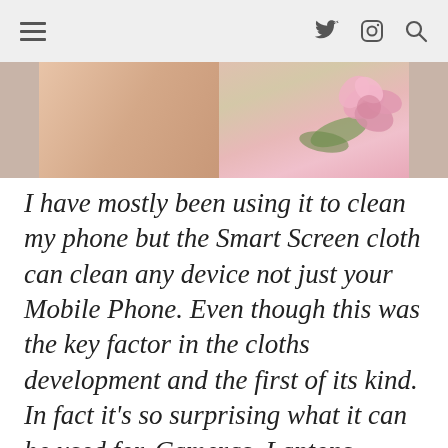Navigation header with hamburger menu, Twitter icon, Instagram icon, and search icon
[Figure (photo): Close-up photo of a person's neck/shoulder area holding a pink flower with green leaves, cropped showing the lower portion of the image]
I have mostly been using it to clean my phone but the Smart Screen cloth can clean any device not just your Mobile Phone. Even though this was the key factor in the cloths development and the first of its kind. In fact it's so surprising what it can be used for. Cameras, Laptops, Handheld Games Consoles, Reading Glasses the list is endless. This is